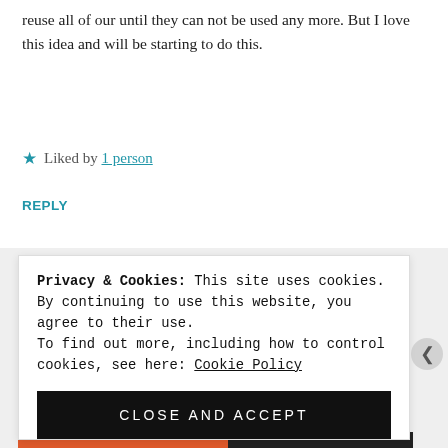reuse all of our until they can not be used any more. But I love this idea and will be starting to do this.
★ Liked by 1 person
REPLY
Privacy & Cookies: This site uses cookies. By continuing to use this website, you agree to their use. To find out more, including how to control cookies, see here: Cookie Policy
CLOSE AND ACCEPT